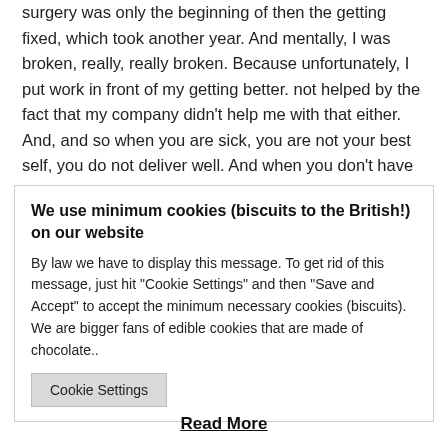surgery was only the beginning of then the getting fixed, which took another year. And mentally, I was broken, really, really broken. Because unfortunately, I put work in front of my getting better. not helped by the fact that my company didn't help me with that either. And, and so when you are sick, you are not your best self, you do not deliver well. And when you don't have a company supporting you either, then you don't make right
We use minimum cookies (biscuits to the British!) on our website
By law we have to display this message. To get rid of this message, just hit "Cookie Settings" and then "Save and Accept" to accept the minimum necessary cookies (biscuits). We are bigger fans of edible cookies that are made of chocolate..
Cookie Settings
Read More